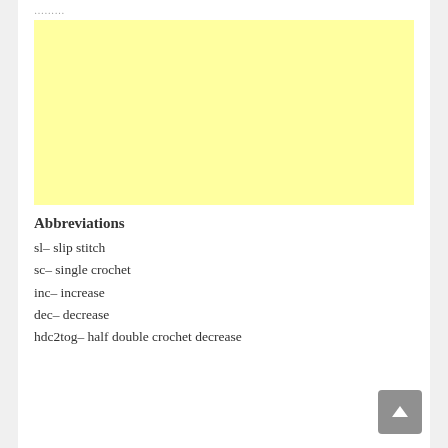…
[Figure (other): Light yellow advertisement block]
Abbreviations
sl– slip stitch
sc– single crochet
inc– increase
dec– decrease
hdc2tog– half double crochet decrease